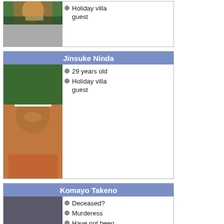[Figure (illustration): Partial card at top showing an anime character image and bullet points: Holiday villa guest]
Holiday villa guest
Jinsuke Ninda
[Figure (illustration): Anime character portrait of Jinsuke Ninda, a man with a white headband]
29 years old
Holiday villa guest
Komayo Takeno
[Figure (illustration): Anime character portrait of Komayo Takeno, a woman with long black hair and red clothing]
Deceased?
Murderess
Have not been seen in 15 years
Red Woman
Takeno
[Figure (illustration): Anime character portrait of Takeno, grayscale/dark image]
Deceased (stabbed)
Komayo's husband
Murdered by his